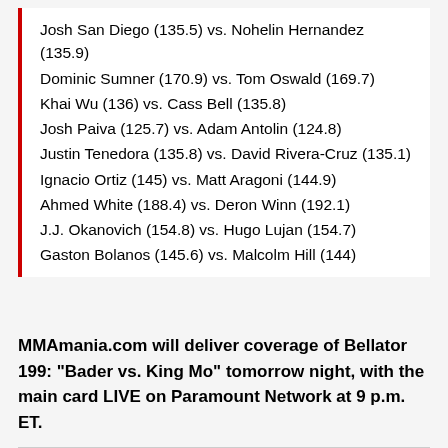Josh San Diego (135.5) vs. Nohelin Hernandez (135.9)
Dominic Sumner (170.9) vs. Tom Oswald (169.7)
Khai Wu (136) vs. Cass Bell (135.8)
Josh Paiva (125.7) vs. Adam Antolin (124.8)
Justin Tenedora (135.8) vs. David Rivera-Cruz (135.1)
Ignacio Ortiz (145) vs. Matt Aragoni (144.9)
Ahmed White (188.4) vs. Deron Winn (192.1)
J.J. Okanovich (154.8) vs. Hugo Lujan (154.7)
Gaston Bolanos (145.6) vs. Malcolm Hill (144)
MMAmania.com will deliver coverage of Bellator 199: "Bader vs. King Mo" tomorrow night, with the main card LIVE on Paramount Network at 9 p.m. ET.